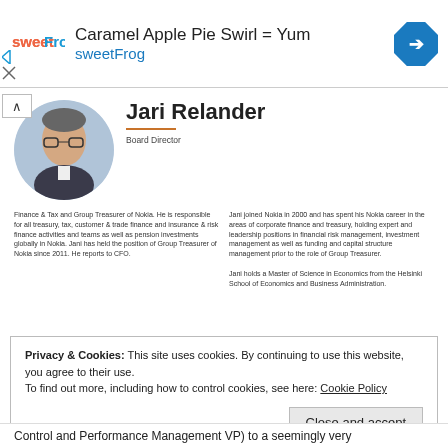[Figure (infographic): sweetFrog advertisement banner with logo, text 'Caramel Apple Pie Swirl = Yum' and 'sweetFrog', and a blue navigation arrow icon]
[Figure (photo): Circular profile photo of Jari Relander, a man wearing glasses and a suit]
Jari Relander
Board Director
Finance & Tax and Group Treasurer of Nokia. He is responsible for all treasury, tax, customer & trade finance and insurance & risk finance activities and teams as well as pension investments globally in Nokia. Jani has held the position of Group Treasurer of Nokia since 2011. He reports to CFO.
Jani joined Nokia in 2000 and has spent his Nokia career in the areas of corporate finance and treasury, holding expert and leadership positions in financial risk management, investment management as well as funding and capital structure management prior to the role of Group Treasurer.

Jani holds a Master of Science in Economics from the Helsinki School of Economics and Business Administration.
Privacy & Cookies: This site uses cookies. By continuing to use this website, you agree to their use.
To find out more, including how to control cookies, see here: Cookie Policy
Close and accept
Control and Performance Management VP) to a seemingly very